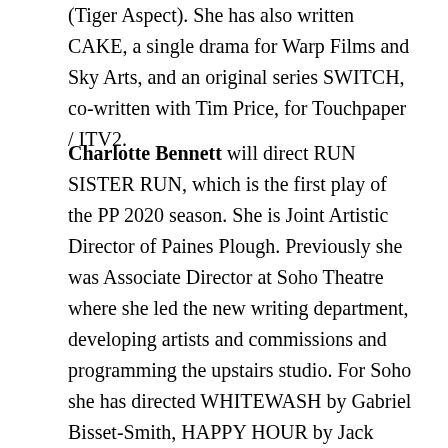(Tiger Aspect). She has also written CAKE, a single drama for Warp Films and Sky Arts, and an original series SWITCH, co-written with Tim Price, for Touchpaper / ITV2.
Charlotte Bennett will direct RUN SISTER RUN, which is the first play of the PP 2020 season. She is Joint Artistic Director of Paines Plough. Previously she was Associate Director at Soho Theatre where she led the new writing department, developing artists and commissions and programming the upstairs studio. For Soho she has directed WHITEWASH by Gabriel Bisset-Smith, HAPPY HOUR by Jack Rooke, curated a six-month off-site arts festival in Waltham Forest and led playwriting competition the Verity Bargate Award. Prior to this she was Artistic Director of Forward Theatre